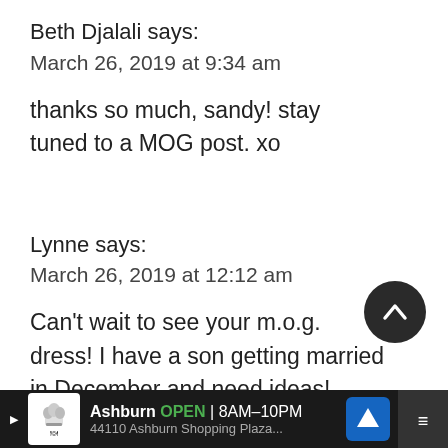Beth Djalali says:
March 26, 2019 at 9:34 am
thanks so much, sandy! stay tuned to a MOG post. xo
Lynne says:
March 26, 2019 at 12:12 am
Can't wait to see your m.o.g. dress! I have a son getting married in December and need ideas!